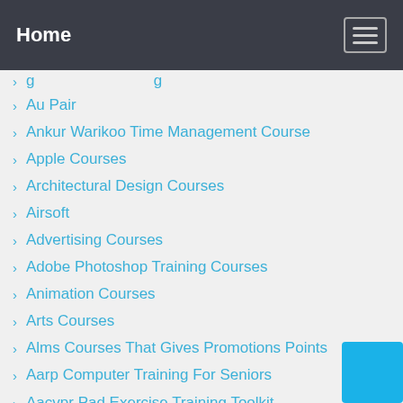Home
› Au Pair
› Ankur Warikoo Time Management Course
› Apple Courses
› Architectural Design Courses
› Airsoft
› Advertising Courses
› Adobe Photoshop Training Courses
› Animation Courses
› Arts Courses
› Alms Courses That Gives Promotions Points
› Aarp Computer Training For Seniors
› Aacvpr Pad Exercise Training Toolkit